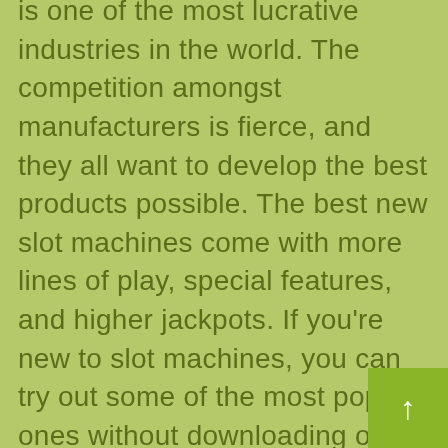is one of the most lucrative industries in the world. The competition amongst manufacturers is fierce, and they all want to develop the best products possible. The best new slot machines come with more lines of play, special features, and higher jackpots. If you're new to slot machines, you can try out some of the most popular ones without downloading or registering. Whether you're an old pro or just a beginner, you can easily find the game that suits you the best.
Slot machines are easy to play and have themes that can appeal to any demographic. Titanic, for example, is a popular theme for free slots. You can find many other great slot machines with a variety of themes. You'll never run out of options when it comes to choosing a free slot machine. You can